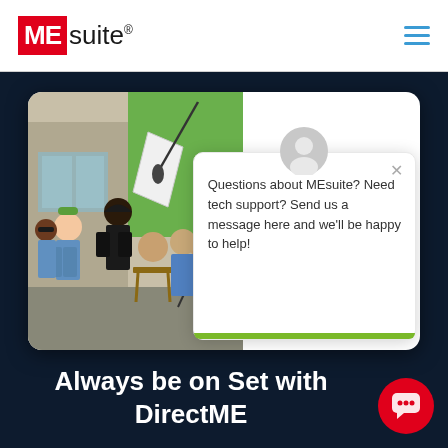[Figure (logo): MEsuite logo with red background box containing white 'ME' text and black 'suite' text with registered trademark symbol]
[Figure (illustration): Animated illustration of a film production crew on a movie set with characters holding cameras, boom mics, and film equipment, alongside a chat popup overlay saying: Questions about MEsuite? Need tech support? Send us a message here and we'll be happy to help!]
Always be on Set with DirectME